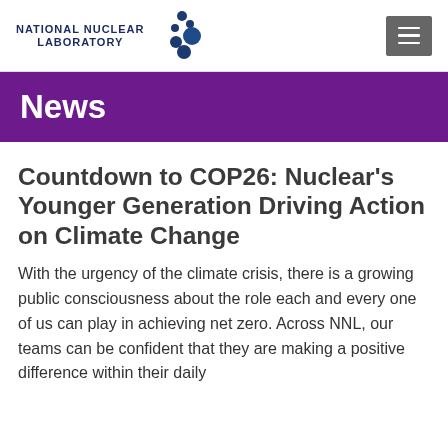[Figure (logo): National Nuclear Laboratory logo with text and stylized blue dots]
National Nuclear Laboratory
News
Countdown to COP26: Nuclear's Younger Generation Driving Action on Climate Change
With the urgency of the climate crisis, there is a growing public consciousness about the role each and every one of us can play in achieving net zero. Across NNL, our teams can be confident that they are making a positive difference within their daily…